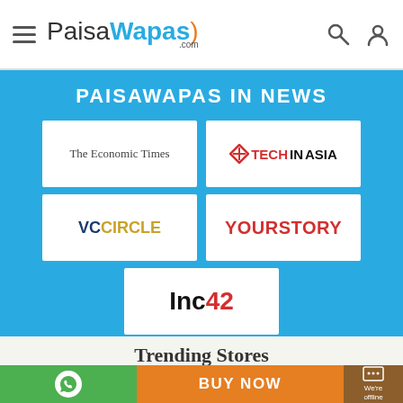PaisaWapas.com
PAISAWAPAS IN NEWS
[Figure (logo): The Economic Times logo - serif text]
[Figure (logo): TechInAsia logo - red and black text with arrow icon]
[Figure (logo): VCCircle logo - dark blue and gold text]
[Figure (logo): YourStory logo - red bold text]
[Figure (logo): Inc42 logo - black Inc and red 42]
Trending Stores
BUY NOW